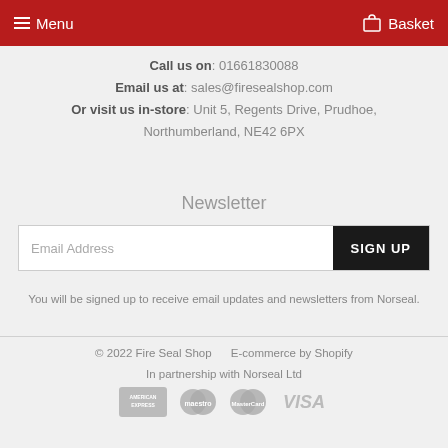Menu  Basket
Call us on: 01661830088
Email us at: sales@firesealshop.com
Or visit us in-store: Unit 5, Regents Drive, Prudhoe, Northumberland, NE42 6PX
Newsletter
Email Address  SIGN UP
You will be signed up to receive email updates and newsletters from Norseal.
© 2022 Fire Seal Shop    E-commerce by Shopify
In partnership with Norseal Ltd